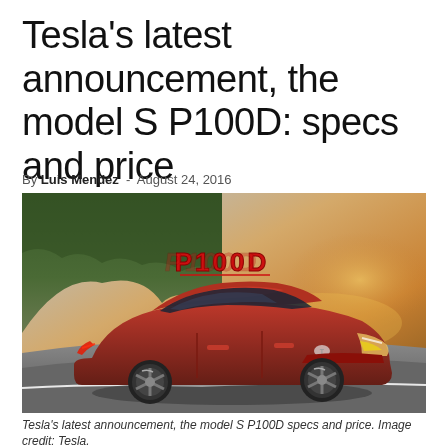Tesla's latest announcement, the model S P100D: specs and price
By Luis Mendez - August 24, 2016
[Figure (photo): Red Tesla Model S P100D driving on a coastal road with cliffs and golden sunset sky. P100D logo visible in red lettering in the background.]
Tesla's latest announcement, the model S P100D specs and price. Image credit: Tesla.